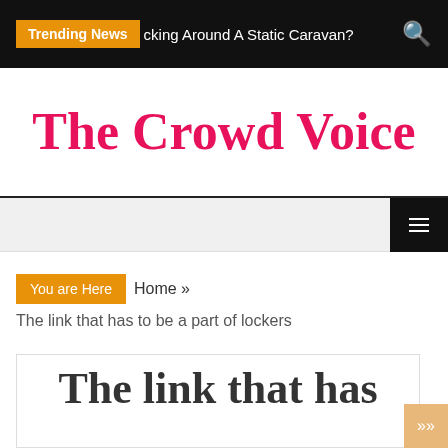Trending News  cking Around A Static Caravan?
The Crowd Voice
≡ (menu)
You are Here  Home »  The link that has to be a part of lockers
The link that has